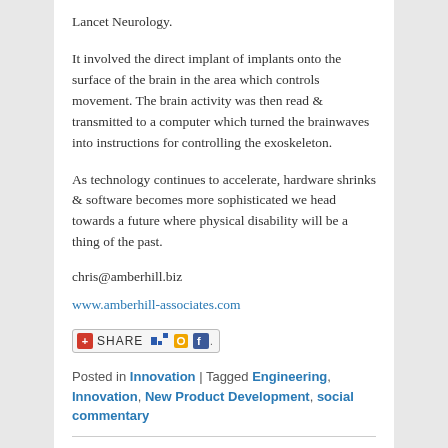Lancet Neurology.
It involved the direct implant of implants onto the surface of the brain in the area which controls movement. The brain activity was then read & transmitted to a computer which turned the brainwaves into instructions for controlling the exoskeleton.
As technology continues to accelerate, hardware shrinks & software becomes more sophisticated we head towards a future where physical disability will be a thing of the past.
chris@amberhill.biz
www.amberhill-associates.com
[Figure (other): Share button with social media icons (AddThis share bar)]
Posted in Innovation | Tagged Engineering, Innovation, New Product Development, social commentary